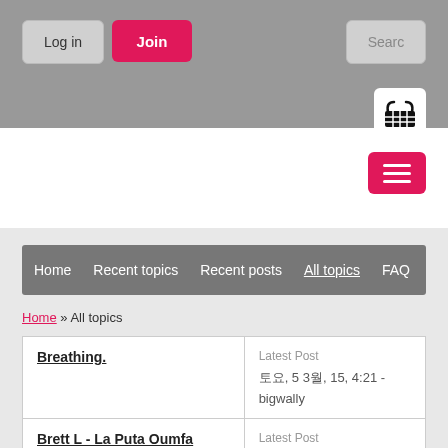Log in | Join | Search
[Figure (illustration): Shopping basket icon in white rounded square]
[Figure (illustration): Hamburger menu button (three horizontal lines) on pink/red background]
Home | Recent topics | Recent posts | All topics | FAQ
Home » All topics
| Topic | Latest Post |
| --- | --- |
| Breathing. | 토요, 5 3월, 15, 4:21 - bigwally |
| Brett L - La Puta Oumfa | Latest Post |